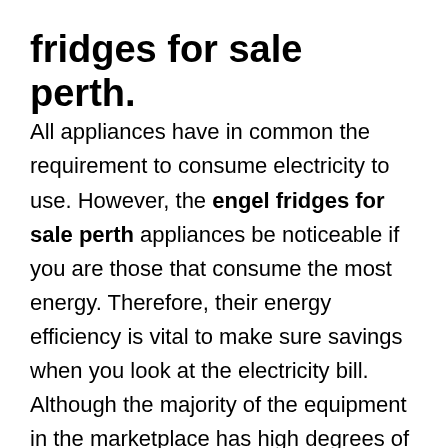fridges for sale perth.
All appliances have in common the requirement to consume electricity to use. However, the engel fridges for sale perth appliances be noticeable if you are those that consume the most energy. Therefore, their energy efficiency is vital to make sure savings when you look at the electricity bill. Although the majority of the equipment in the marketplace has high degrees of efficiency, you can still find some with obsolete systems.
Currently, there is an electricity efficiency scale